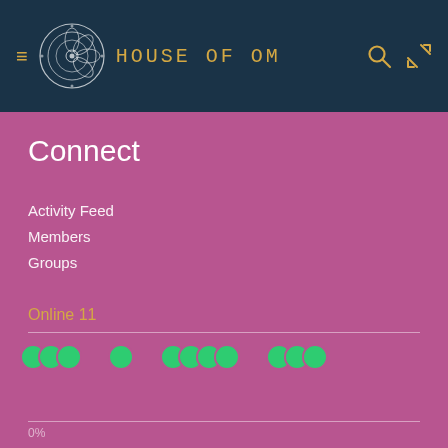House of Om
Connect
Activity Feed
Members
Groups
Online 11
[Figure (other): Four groups of overlapping green circle avatars indicating online users]
0%